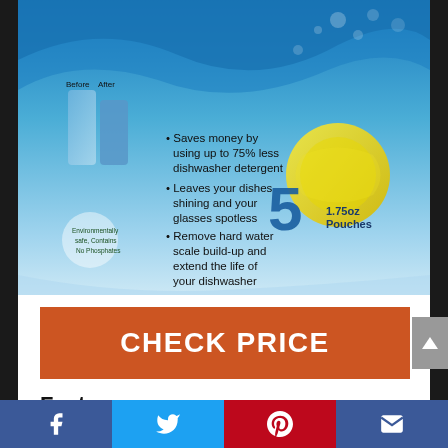[Figure (photo): Product package photo of a dishwasher cleaner showing a blue water wave background with bullet points: Saves money by using up to 75% less dishwasher detergent; Leaves your dishes shining and your glasses spotless; Remove hard water scale build-up and extend the life of your dishwasher. Shows '5 1.75oz Pouches', a lemon image, and 'Before/After' glass comparison with 'Environmentally safe, Contains No Phosphates' badge.]
CHECK PRICE
Feature
Leaves your dishes shining and your glasses spotless